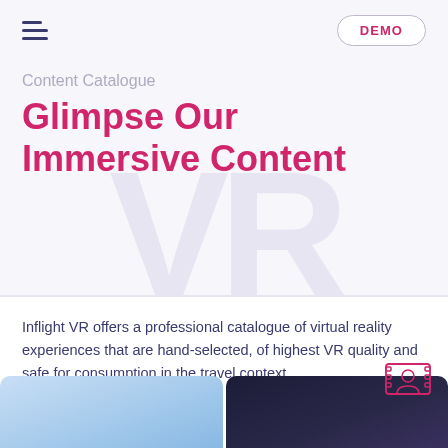DEMO
Content Catalogue
Glimpse Our Immersive Content
Inflight VR offers a professional catalogue of virtual reality experiences that are hand-selected, of highest VR quality and safe for consumption in the travel context.
CINEMA & TV
[Figure (icon): Cinema/VR headset icon outline in pink/magenta color]
[Figure (photo): Two photographs at the bottom: left shows a light blue sky/outdoor scene, right shows a dark night/space scene]